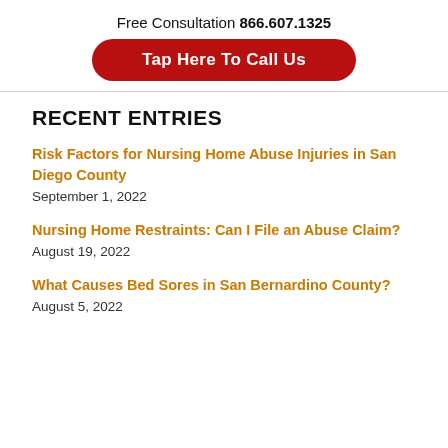Free Consultation 866.607.1325
Tap Here To Call Us
RECENT ENTRIES
Risk Factors for Nursing Home Abuse Injuries in San Diego County
September 1, 2022
Nursing Home Restraints: Can I File an Abuse Claim?
August 19, 2022
What Causes Bed Sores in San Bernardino County?
August 5, 2022